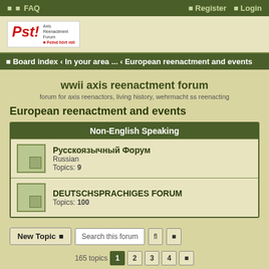FAQ   Register   Login
[Figure (logo): Pst! Axis Reenactment Forum logo - Feind hört mit]
Board index › In your area ... › European reenactment and events
wwii axis reenactment forum
forum for axis reenactors, living history, wehrmacht ss reenacting
European reenactment and events
| Non-English Speaking |
| --- |
| Русскоязычный Форум | Russian | Topics: 9 |
| DEUTSCHSPRACHIGES FORUM |  | Topics: 100 |
New Topic   Search this forum
165 topics   1   2   3   4